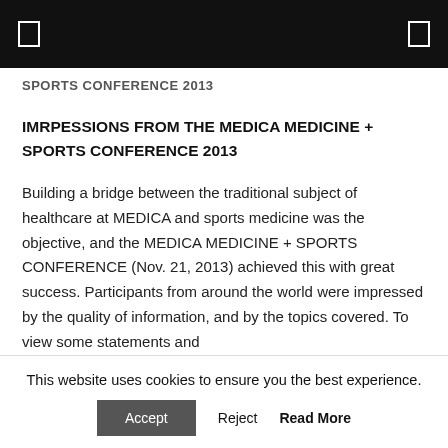SPORTS CONFERENCE 2013
IMRPESSIONS FROM THE MEDICA MEDICINE + SPORTS CONFERENCE 2013
Building a bridge between the traditional subject of healthcare at MEDICA and sports medicine was the objective, and the MEDICA MEDICINE + SPORTS CONFERENCE (Nov. 21, 2013) achieved this with great success. Participants from around the world were impressed by the quality of information, and by the topics covered. To view some statements and impressions of the MEDICA MEDICINE + SPORTS
This website uses cookies to ensure you the best experience.
Accept  Reject  Read More